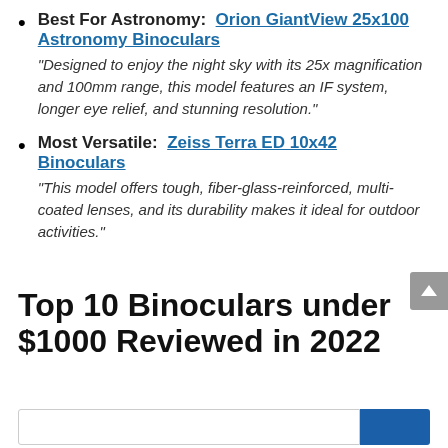Best For Astronomy: Orion GiantView 25x100 Astronomy Binoculars — "Designed to enjoy the night sky with its 25x magnification and 100mm range, this model features an IF system, longer eye relief, and stunning resolution."
Most Versatile: Zeiss Terra ED 10x42 Binoculars — "This model offers tough, fiber-glass-reinforced, multi-coated lenses, and its durability makes it ideal for outdoor activities."
Top 10 Binoculars under $1000 Reviewed in 2022